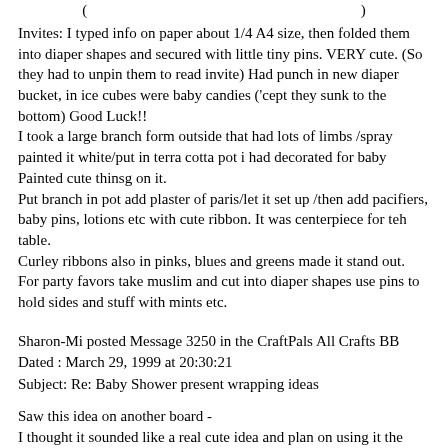(  ...  )
Invites: I typed info on paper about 1/4 A4 size, then folded them into diaper shapes and secured with little tiny pins. VERY cute. (So they had to unpin them to read invite) Had punch in new diaper bucket, in ice cubes were baby candies ('cept they sunk to the bottom) Good Luck!!
I took a large branch form outside that had lots of limbs /spray painted it white/put in terra cotta pot i had decorated for baby Painted cute thinsg on it.
Put branch in pot add plaster of paris/let it set up /then add pacifiers, baby pins, lotions etc with cute ribbon. It was centerpiece for teh table.
Curley ribbons also in pinks, blues and greens made it stand out.
For party favors take muslim and cut into diaper shapes use pins to hold sides and stuff with mints etc.
Sharon-Mi posted Message 3250 in the CraftPals All Crafts BB
Dated : March 29, 1999 at 20:30:21
Subject: Re: Baby Shower present wrapping ideas
Saw this idea on another board -
I thought it sounded like a real cute idea and plan on using it the next time I am invited to a baby shower -
fill a bucket with all kinds of "Winnie the Pooh" items - Put a big